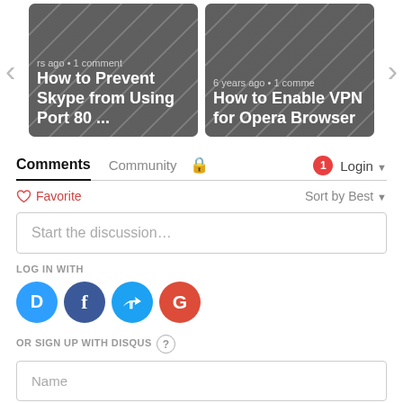[Figure (screenshot): Carousel with two article cards: 'How to Prevent Skype from Using Port 80 ...' and 'How to Enable VPN for Opera Browser', with left and right navigation arrows.]
Comments	Community	🔒	1	Login
♡ Favorite	Sort by Best
Start the discussion…
LOG IN WITH
[Figure (illustration): Social login icons: Disqus (blue), Facebook (dark blue), Twitter (light blue), Google (red)]
OR SIGN UP WITH DISQUS ?
Name